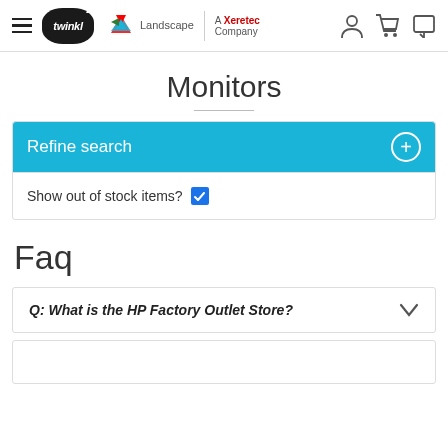twinkl | Landscape A Xeretec Company
Monitors
Refine search
Show out of stock items?
Faq
Q: What is the HP Factory Outlet Store?